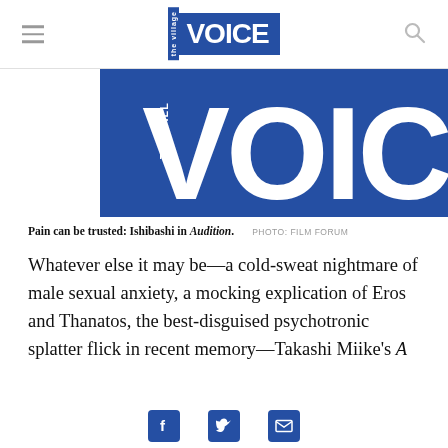the village VOICE
[Figure (logo): Large Village Voice masthead logo banner: white 'VOICE' text and 'the villa' vertical text on blue background]
Pain can be trusted: Ishibashi in Audition.   PHOTO: FILM FORUM
Whatever else it may be—a cold-sweat nightmare of male sexual anxiety, a mocking explication of Eros and Thanatos, the best-disguised psychotronic splatter flick in recent memory—Takashi Miike's Audition is first and foremost a thoroughlyained V
Social share icons: Facebook, Twitter, Email